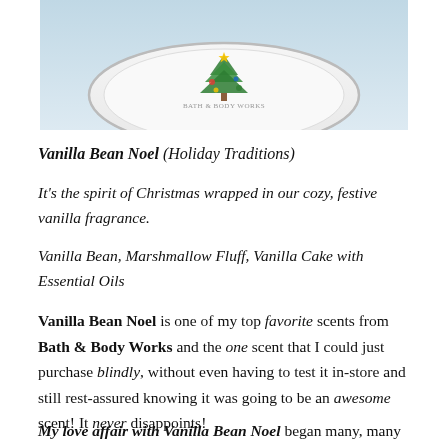[Figure (photo): Top-down view of a round Bath & Body Works candle lid with green holiday illustrations on white background, photographed against a light blue-grey surface.]
Vanilla Bean Noel (Holiday Traditions)
It's the spirit of Christmas wrapped in our cozy, festive vanilla fragrance.
Vanilla Bean, Marshmallow Fluff, Vanilla Cake with Essential Oils
Vanilla Bean Noel is one of my top favorite scents from Bath & Body Works and the one scent that I could just purchase blindly, without even having to test it in-store and still rest-assured knowing it was going to be an awesome scent! It never disappoints!
My love affair with Vanilla Bean Noel began many, many